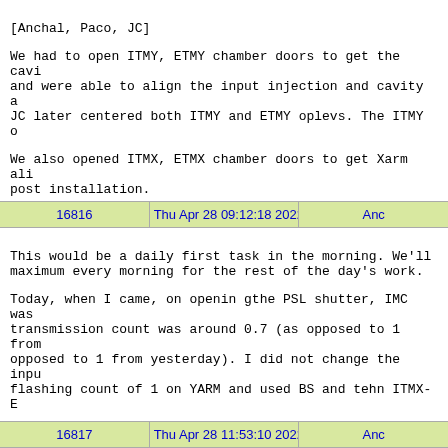[Anchal, Paco, JC]

We had to open ITMY, ETMY chamber doors to get the cavi and were able to align the input injection and cavity a JC later centered both ITMY and ETMY oplevs. The ITMY o

We also opened ITMX, ETMX chamber doors to get Xarm ali post installation.

To be continued
| 16816 | Thu Apr 28 09:12:18 2022 | Anc |
| --- | --- | --- |
This would be a daily first task in the morning. We'll maximum every morning for the rest of the day's work.

Today, when I came, on openin gthe PSL shutter, IMC was transmission count was around 0.7 (as opposed to 1 from opposed to 1 from yesterday). I did not change the inpu flashing count of 1 on YARM and used BS and tehn ITMX-E

Even thought the oplevs were centered yesterday, I foun also is different for all ooptics except EMTY and BS. I ITMY and ITMX are off by 70-90 uradians and ETMX Pit op
| 16817 | Thu Apr 28 11:53:10 2022 | Anc |
| --- | --- | --- |